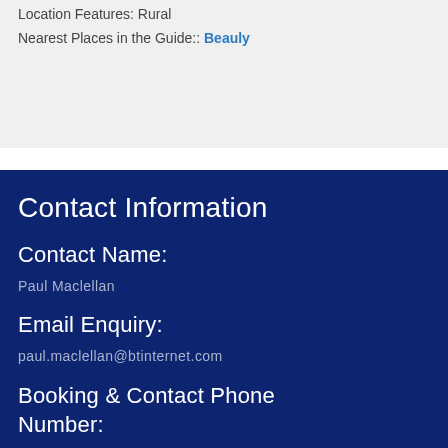Location Features: Rural
Nearest Places in the Guide:: Beauly
Contact Information
Contact Name:
Paul Maclellan
Email Enquiry:
paul.maclellan@btinternet.com
Booking & Contact Phone Number: